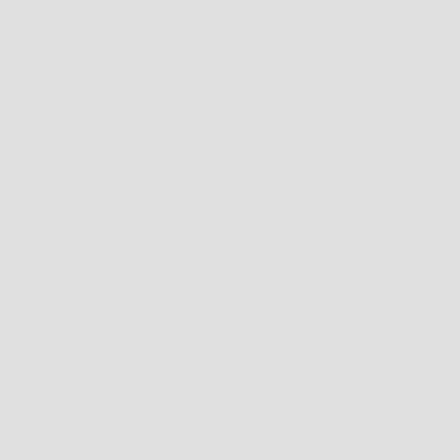| Part Number | Price | Description |
| --- | --- | --- |
| 3B7971100ED | 116.10$ | HARN |
| 4B9827505G | 37.55$ | LATCH |
| 701857551A9ZZ | 42.90$ | SUN V |
| 7D0820721D | 347.14$ | HOSE |
| 1Y1971121AG | 82.02$ | HARN |
| 8K0598201B | 48.70$ | BOOT |
| 3C8881560A | 18.18$ | RETAI |
| 3C0820741AK | 245.30$ | COOL |
| 1Y0885073R5QT | 244.50$ | COVE |
| 1K4867243RBR2 | 90.81$ | LININ |
| 8R0853704B2ZZ | 219.69$ | MOLD |
| 4L1837886B | 107.63$ | SUPP |
| 1K5853371B31X | 42.93$ | SCUFI |
| 4H0971284 | 284.20$ | HARN |
| 7P0713265B | 187.67$ | CABLE |
| 5C78194039B9 | 45.12$ | DEFLE |
| 3A0857713 | 67.22$ | LAP B |
| 441853970F01C | 98.23$ | COVE |
| 448377354B | 89.99$ | TRAC |